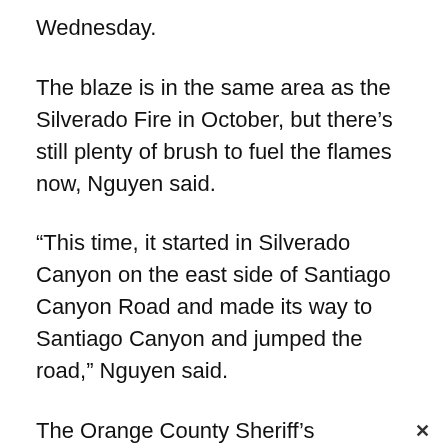Wednesday.
The blaze is in the same area as the Silverado Fire in October, but there’s still plenty of brush to fuel the flames now, Nguyen said.
“This time, it started in Silverado Canyon on the east side of Santiago Canyon Road and made its way to Santiago Canyon and jumped the road,” Nguyen said.
The Orange County Sheriff’s Department announced that the county’s Emergency Operations Center was activated to support the firefighting effort. A public information hotline was activated — 714-628-7085 — for